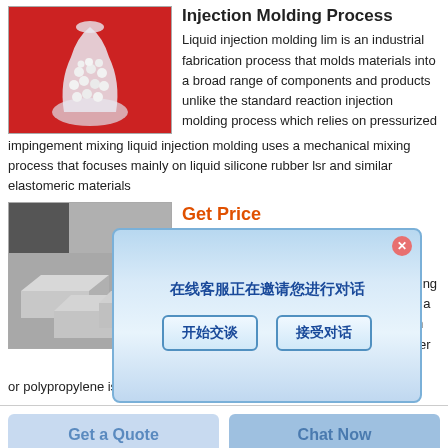[Figure (photo): Glass jar/vase filled with small white pellets/beads on a red background]
Injection Molding Process
Liquid injection molding lim is an industrial fabrication process that molds materials into a broad range of components and products unlike the standard reaction injection molding process which relies on pressurized impingement mixing liquid injection molding uses a mechanical mixing process that focuses mainly on liquid silicone rubber lsr and similar elastomeric materials
[Figure (photo): Gray plastic foam/blocks arranged in a pile on a surface]
Get Price
lastic est Uses
ed moulding is the process of manufacturing by shaping liquid or pliable material using a rigid frame called a mold or matrix 1 when molding plastics a powder or liquid polymer such as polyethylene or polypropylene is placed into a
[Figure (screenshot): Chinese chat dialog overlay with message and two buttons: 开始交谈 and 接受对话]
Get a Quote
Chat Now